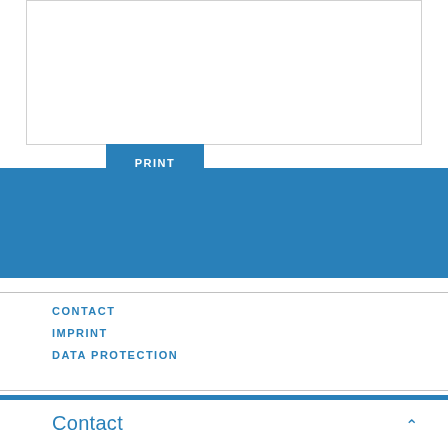Share
PRINT
[Figure (other): Blue banner section]
CONTACT
IMPRINT
DATA PROTECTION
Contact